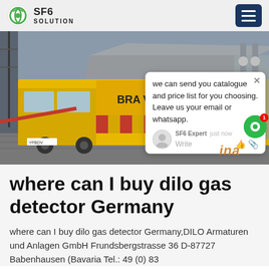SF6 SOLUTION
[Figure (photo): A yellow industrial truck/vehicle with equipment at a power substation. A chat popup overlay shows: 'we can send you catalogue and price list for you choosing. Leave us your email or whatsapp.' with SF6 Expert label and 'just now' timestamp.]
where can I buy dilo gas detector Germany
where can I buy dilo gas detector Germany,DILO Armaturen und Anlagen GmbH Frundsbergstrasse 36 D-87727 Babenhausen (Bavaria Tel.: 49 (0) 83